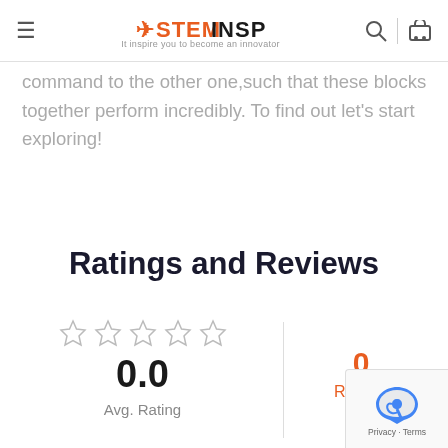STEM INSPIRE – It inspire you to become an innovator
command to the other one,such that these blocks together perform incredibly. To find out let's start exploring!
Ratings and Reviews
0.0  Avg. Rating  |  0 Ratings